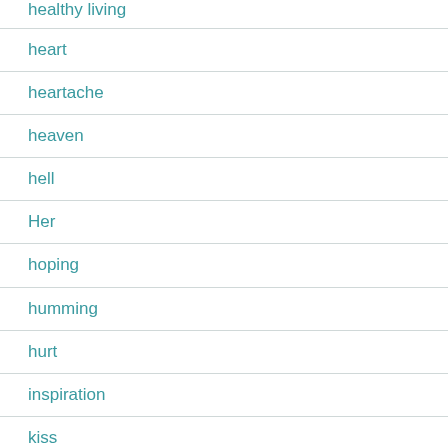healthy living
heart
heartache
heaven
hell
Her
hoping
humming
hurt
inspiration
kiss